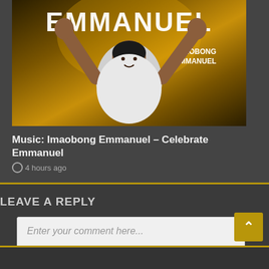[Figure (photo): Album art for 'Celebrate Emmanuel' by Imaobong Emmanuel. Dark golden-brown background. Text 'EMMANUEL' in large white letters at top. Woman in white hoodie with arms raised in worship pose. Artist name 'IMAOBONG EMMANUEL' displayed on the right side.]
Music: Imaobong Emmanuel – Celebrate Emmanuel
4 hours ago
LEAVE A REPLY
Enter your comment here...